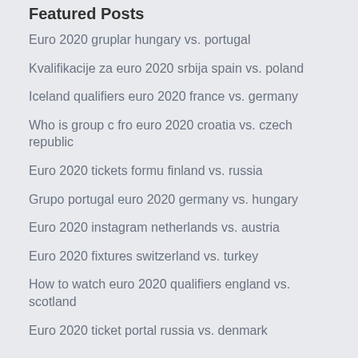Featured Posts
Euro 2020 gruplar hungary vs. portugal
Kvalifikacije za euro 2020 srbija spain vs. poland
Iceland qualifiers euro 2020 france vs. germany
Who is group c fro euro 2020 croatia vs. czech republic
Euro 2020 tickets formu finland vs. russia
Grupo portugal euro 2020 germany vs. hungary
Euro 2020 instagram netherlands vs. austria
Euro 2020 fixtures switzerland vs. turkey
How to watch euro 2020 qualifiers england vs. scotland
Euro 2020 ticket portal russia vs. denmark